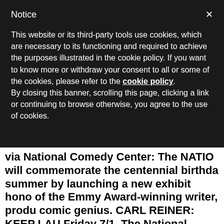Notice
This website or its third-party tools use cookies, which are necessary to its functioning and required to achieve the purposes illustrated in the cookie policy. If you want to know more or withdraw your consent to all or some of the cookies, please refer to the cookie policy.
By closing this banner, scrolling this page, clicking a link or continuing to browse otherwise, you agree to the use of cookies.
via National Comedy Center: The NATIO will commemorate the centennial birthda summer by launching a new exhibit hono of the Emmy Award-winning writer, produ comic genius. CARL REINER: KEEP LAU Friday 7/1. The National Commedy will als life with a special event, in conjunction w Chautauqua Institution, that will take plac